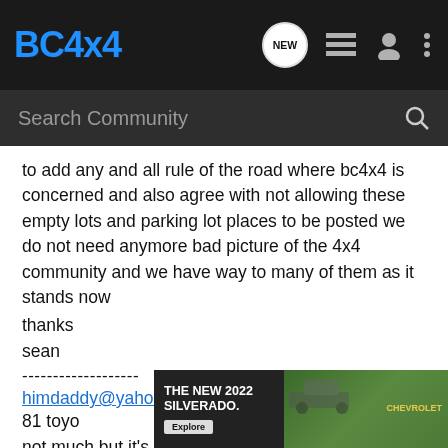BC4x4 [logo] NEW [icons]
Search Community
to add any and all rule of the road where bc4x4 is concerned and also agree with not allowing these empty lots and parking lot places to be posted we do not need anymore bad picture of the 4x4 community and we have way to many of them as it stands now
thanks
sean
-------------------
himdaddy@yahoo.com
81 toyo
not much but it's my toy
it's neve... wife drove
in!!
remember...en if it
[Figure (advertisement): THE NEW 2022 SILVERADO. Chevrolet truck advertisement with Explore button and Chevrolet logo]